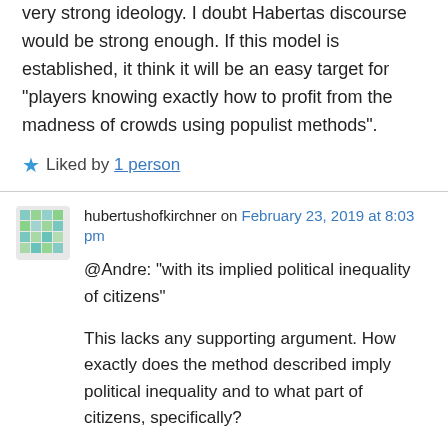very strong ideology. I doubt Habertas discourse would be strong enough. If this model is established, it think it will be an easy target for “players knowing exactly how to profit from the madness of crowds using populist methods”.
★ Liked by 1 person
hubertushofkirchner on February 23, 2019 at 8:03 pm
@Andre: “with its implied political inequality of citizens”

This lacks any supporting argument. How exactly does the method described imply political inequality and to what part of citizens, specifically?